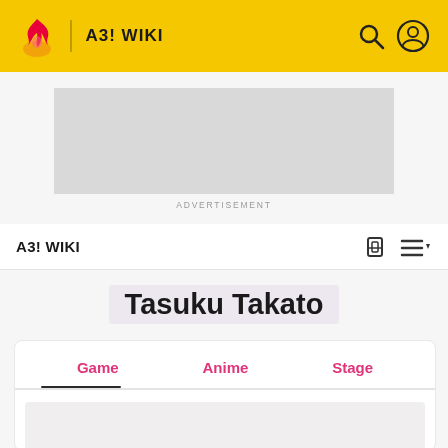A3! WIKI
[Figure (other): Advertisement placeholder (grey box)]
ADVERTISEMENT
A3! WIKI
Tasuku Takato
Game   Anime   Stage